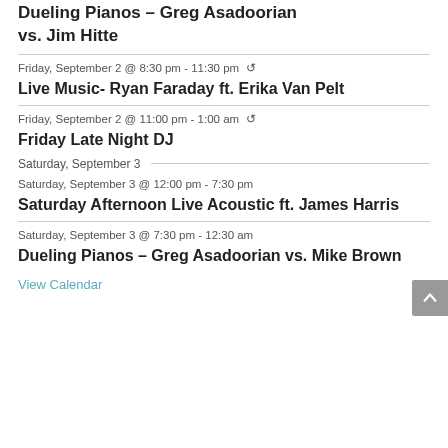Dueling Pianos – Greg Asadoorian vs. Jim Hitte
Friday, September 2 @ 8:30 pm - 11:30 pm ↺
Live Music- Ryan Faraday ft. Erika Van Pelt
Friday, September 2 @ 11:00 pm - 1:00 am ↺
Friday Late Night DJ
Saturday, September 3
Saturday, September 3 @ 12:00 pm - 7:30 pm
Saturday Afternoon Live Acoustic ft. James Harris
Saturday, September 3 @ 7:30 pm - 12:30 am
Dueling Pianos – Greg Asadoorian vs. Mike Brown
View Calendar